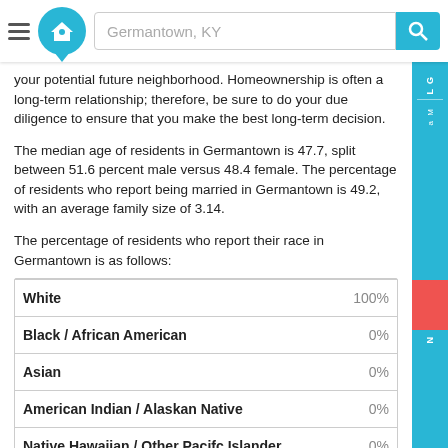Germantown, KY
your potential future neighborhood. Homeownership is often a long-term relationship; therefore, be sure to do your due diligence to ensure that you make the best long-term decision.
The median age of residents in Germantown is 47.7, split between 51.6 percent male versus 48.4 female. The percentage of residents who report being married in Germantown is 49.2, with an average family size of 3.14.
The percentage of residents who report their race in Germantown is as follows:
| Race | Percentage |
| --- | --- |
| White | 100% |
| Black / African American | 0% |
| Asian | 0% |
| American Indian / Alaskan Native | 0% |
| Native Hawaiian / Other Pacifc Islander | 0% |